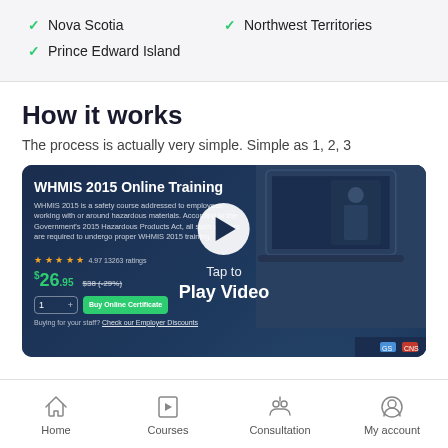Nova Scotia
Northwest Territories
Prince Edward Island
How it works
The process is actually very simple. Simple as 1, 2, 3
[Figure (screenshot): WHMIS 2015 Online Training course page screenshot with play button overlay saying 'Tap to Play Video']
Home  Courses  Consultation  My account